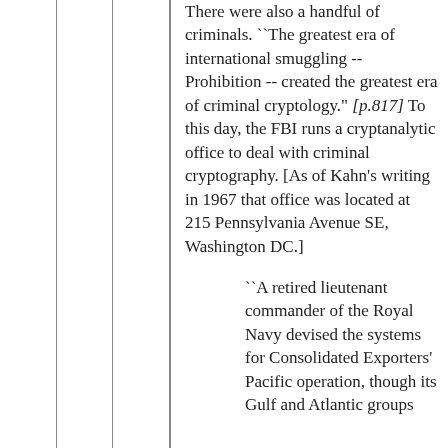There were also a handful of criminals. ``The greatest era of international smuggling -- Prohibition -- created the greatest era of criminal cryptology." [p.817] To this day, the FBI runs a cryptanalytic office to deal with criminal cryptography. [As of Kahn's writing in 1967 that office was located at 215 Pennsylvania Avenue SE, Washington DC.]
``A retired lieutenant commander of the Royal Navy devised the systems for Consolidated Exporters' Pacific operation, though its Gulf and Atlantic groups